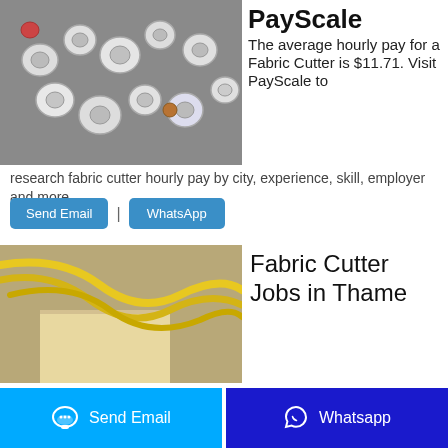[Figure (photo): Photo of various small round white plastic/metal components (bobbins, rings, caps) scattered on a gray surface]
PayScale
The average hourly pay for a Fabric Cutter is $11.71. Visit PayScale to research fabric cutter hourly pay by city, experience, skill, employer and more.
Send Email | WhatsApp
[Figure (photo): Photo of yellow rubber tubing/cords on a concrete floor with some cardboard]
Fabric Cutter Jobs in Thame
Send Email   Whatsapp